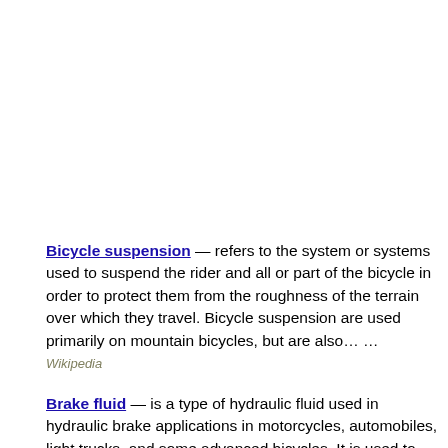Bicycle suspension — refers to the system or systems used to suspend the rider and all or part of the bicycle in order to protect them from the roughness of the terrain over which they travel. Bicycle suspension are used primarily on mountain bicycles, but are also… … Wikipedia
Brake fluid — is a type of hydraulic fluid used in hydraulic brake applications in motorcycles, automobiles, light trucks, and some advanced bicycles. It is used to transfer force under pressure from where it is created through hydraulic lines to the braking… … Wikipedia